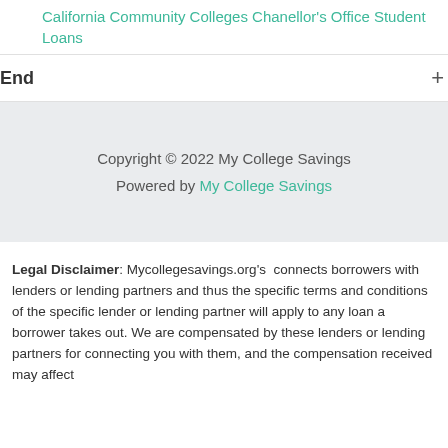California Community Colleges Chanellor's Office Student Loans
End
Copyright © 2022 My College Savings
Powered by My College Savings
Legal Disclaimer: Mycollegesavings.org's connects borrowers with lenders or lending partners and thus the specific terms and conditions of the specific lender or lending partner will apply to any loan a borrower takes out. We are compensated by these lenders or lending partners for connecting you with them, and the compensation received may affect